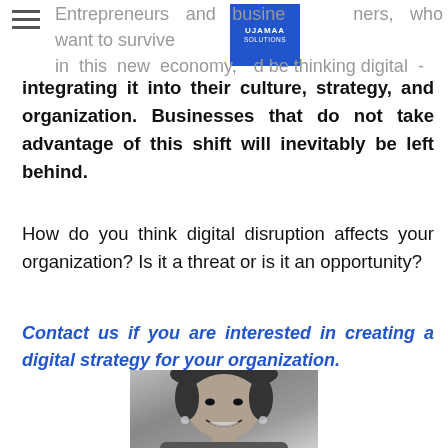Entrepreneurs and business owners, who want to survive in this new economy, should be thinking digital - integrating it into their culture, strategy, and organization. Businesses that do not take advantage of this shift will inevitably be left behind.
How do you think digital disruption affects your organization? Is it a threat or is it an opportunity?
Contact us if you are interested in creating a digital strategy for your organization.
[Figure (photo): Black and white portrait photo of a smiling woman]